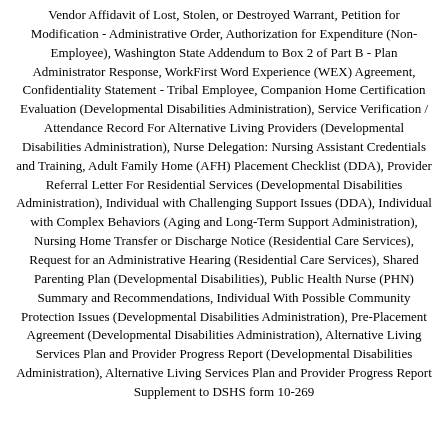Vendor Affidavit of Lost, Stolen, or Destroyed Warrant, Petition for Modification - Administrative Order, Authorization for Expenditure (Non-Employee), Washington State Addendum to Box 2 of Part B - Plan Administrator Response, WorkFirst Word Experience (WEX) Agreement, Confidentiality Statement - Tribal Employee, Companion Home Certification Evaluation (Developmental Disabilities Administration), Service Verification / Attendance Record For Alternative Living Providers (Developmental Disabilities Administration), Nurse Delegation: Nursing Assistant Credentials and Training, Adult Family Home (AFH) Placement Checklist (DDA), Provider Referral Letter For Residential Services (Developmental Disabilities Administration), Individual with Challenging Support Issues (DDA), Individual with Complex Behaviors (Aging and Long-Term Support Administration), Nursing Home Transfer or Discharge Notice (Residential Care Services), Request for an Administrative Hearing (Residential Care Services), Shared Parenting Plan (Developmental Disabilities), Public Health Nurse (PHN) Summary and Recommendations, Individual With Possible Community Protection Issues (Developmental Disabilities Administration), Pre-Placement Agreement (Developmental Disabilities Administration), Alternative Living Services Plan and Provider Progress Report (Developmental Disabilities Administration), Alternative Living Services Plan and Provider Progress Report Supplement to DSHS form 10-269